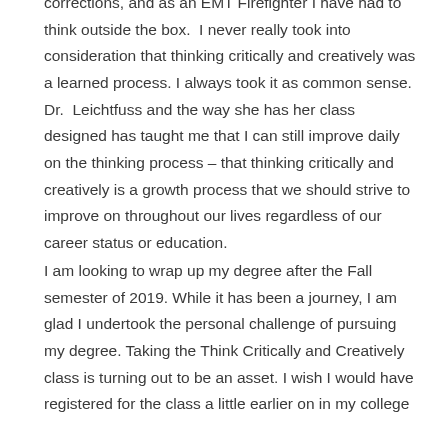corrections, and as an EMT Firefighter I have had to think outside the box.  I never really took into consideration that thinking critically and creatively was a learned process. I always took it as common sense. Dr.  Leichtfuss and the way she has her class designed has taught me that I can still improve daily on the thinking process – that thinking critically and creatively is a growth process that we should strive to improve on throughout our lives regardless of our career status or education.
I am looking to wrap up my degree after the Fall semester of 2019. While it has been a journey, I am glad I undertook the personal challenge of pursuing my degree. Taking the Think Critically and Creatively class is turning out to be an asset. I wish I would have registered for the class a little earlier on in my college